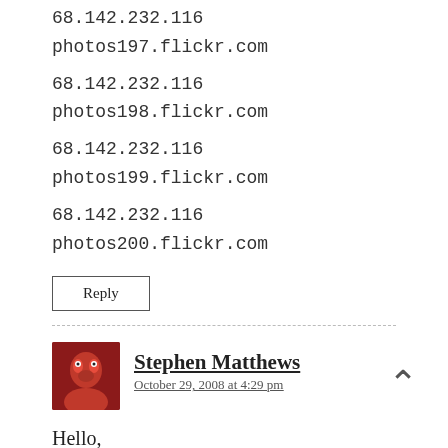68.142.232.116 photos197.flickr.com
68.142.232.116 photos198.flickr.com
68.142.232.116 photos199.flickr.com
68.142.232.116 photos200.flickr.com
Reply
Stephen Matthews
October 29, 2008 at 4:29 pm
Hello,
What a great script idea. Would it be very complicated to make the script download all the photos from a group rather than a set?
I would like to compile a book from the photos of a group I set up so that the users of that group can get